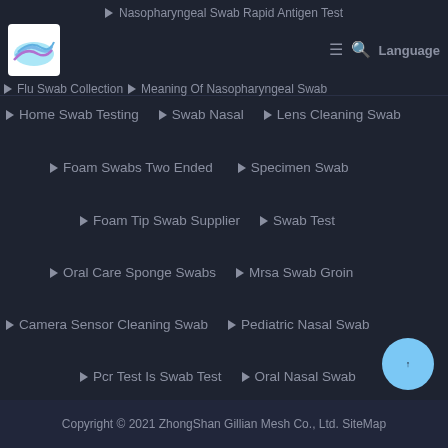Nasopharyngeal Swab Rapid Antigen Test | Flu Swab Collection | Meaning Of Nasopharyngeal Swab
Home Swab Testing
Swab Nasal
Lens Cleaning Swab
Foam Swabs Two Ended
Specimen Swab
Foam Tip Swab Supplier
Swab Test
Oral Care Sponge Swabs
Mrsa Swab Groin
Camera Sensor Cleaning Swab
Pediatric Nasal Swab
Pcr Test Is Swab Test
Oral Nasal Swab
Copyright © 2021 ZhongShan Gillian Mesh Co., Ltd. SiteMap